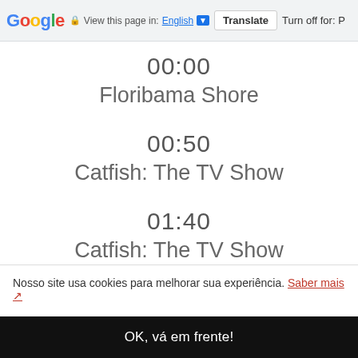Google  View this page in: English [▼]  Translate  Turn off for: P
00:00
Floribama Shore
00:50
Catfish: The TV Show
01:40
Catfish: The TV Show
Nosso site usa cookies para melhorar sua experiência. Saber mais ↗
OK, vá em frente!